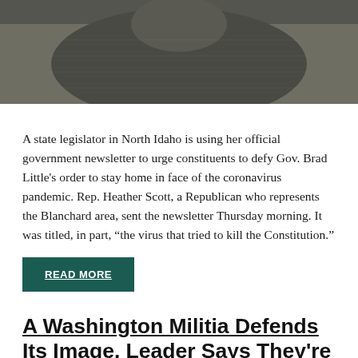[Figure (photo): Partial photo of a person in a houndstooth/checkered pattern top, cropped at the top of the page]
A state legislator in North Idaho is using her official government newsletter to urge constituents to defy Gov. Brad Little's order to stay home in face of the coronavirus pandemic. Rep. Heather Scott, a Republican who represents the Blanchard area, sent the newsletter Thursday morning. It was titled, in part, “the virus that tried to kill the Constitution.”
READ MORE
A Washington Militia Defends Its Image. Leader Says They’re ‘Not A Paramilitary,’ Embraces Matt Shea